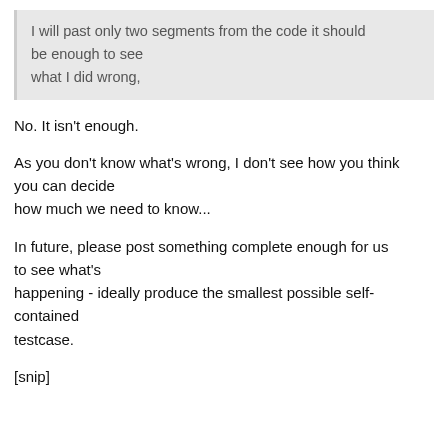I will past only two segments from the code it should be enough to see
what I did wrong,
No. It isn't enough.
As you don't know what's wrong, I don't see how you think you can decide
how much we need to know...
In future, please post something complete enough for us to see what's
happening - ideally produce the smallest possible self-contained
testcase.
[snip]